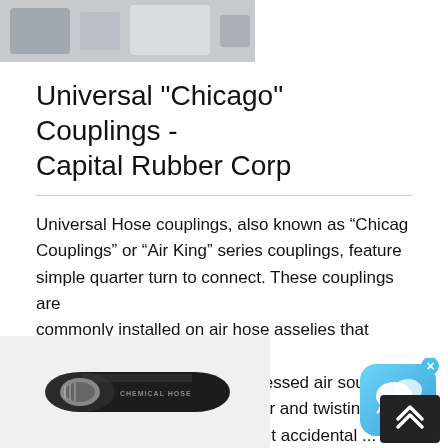[Figure (photo): Top portion of product image, appears to be industrial hardware/couplings on a light background]
Universal "Chicago" Couplings - Capital Rubber Corp
Universal Hose couplings, also known as “Chicago Couplings” or “Air King” series couplings, feature simple quarter turn to connect. These couplings are commonly installed on air hose asselies that connect pneumatic tools to their compressed air sou…mly pressing one coupler to another and twisting…the connection. Safety clips prevent accidental ...
[Figure (photo): Bottom portion of product image showing a black cylindrical hose or coupling component labeled CHEMICAL HOSE]